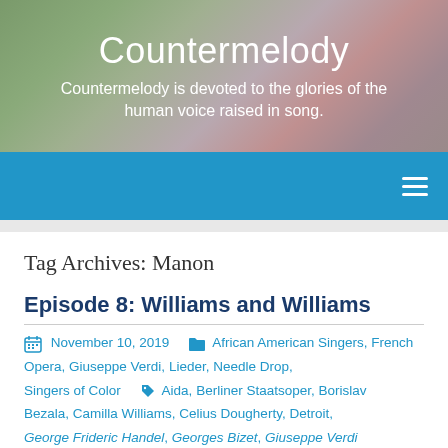Countermelody
Countermelody is devoted to the glories of the human voice raised in song.
Tag Archives: Manon
Episode 8: Williams and Williams
November 10, 2019  African American Singers, French Opera, Giuseppe Verdi, Lieder, Needle Drop, Singers of Color  Aida, Berliner Staatsoper, Borislav Bezala, Camilla Williams, Celius Dougherty, Detroit, George Frideric Handel, Georges Bizet, Giuseppe Verdi